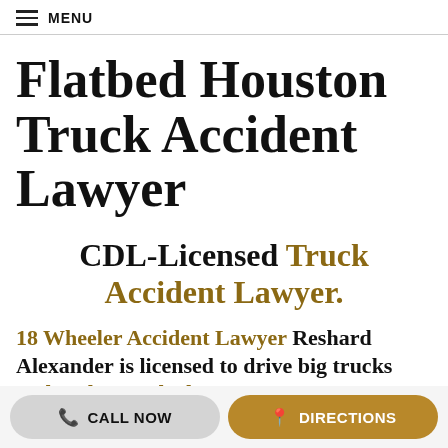≡ MENU
Flatbed Houston Truck Accident Lawyer
CDL-Licensed Truck Accident Lawyer.
18 Wheeler Accident Lawyer Reshard Alexander is licensed to drive big trucks and understands the
CALL NOW   DIRECTIONS